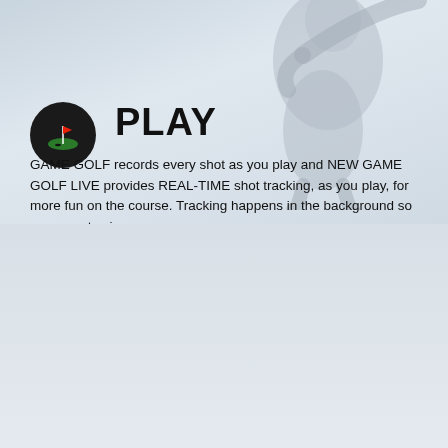[Figure (photo): Top half: golfer mid-swing against a light blue-grey gradient background with a dark golf hole icon circle and PLAY heading]
PLAY
GAME GOLF records every shot as you play and NEW GAME GOLF LIVE provides REAL-TIME shot tracking, as you play, for more fun on the course. Tracking happens in the background so you can stay in your game.
[Figure (screenshot): Bottom half: tablet mockup showing GAME GOLF website with 'EXPLORE GOLF COURSES' section and search results, alongside a phone mockup showing a golf hole scorecard screen]